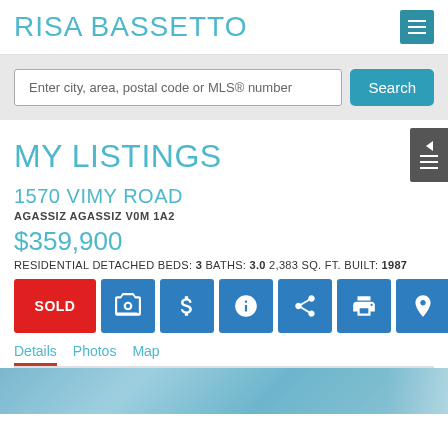RISA BASSETTO
Enter city, area, postal code or MLS® number
MY LISTINGS
1570 VIMY ROAD
AGASSIZ AGASSIZ V0M 1A2
$359,900
RESIDENTIAL DETACHED BEDS: 3 BATHS: 3.0 2,383 SQ. FT. BUILT: 1987
SOLD
Details  Photos  Map